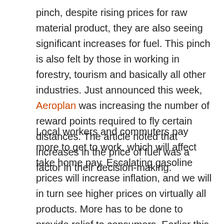pinch, despite rising prices for raw material product, they are also seeing significant increases for fuel. This pinch is also felt by those in working in forestry, tourism and basically all other industries. Just announced this week, Aeroplan was increasing the number of reward points required to fly certain distances. The article noted that increases in the price of fuel was a factor in their decision-making.
Local workers and commuters pay more to get to work, which will affect take home pay. Escalating gasoline prices will increase inflation, and we will in turn see higher prices on virtually all products. More has to be done to provide relief to consumers. Earlier this week, CBC News